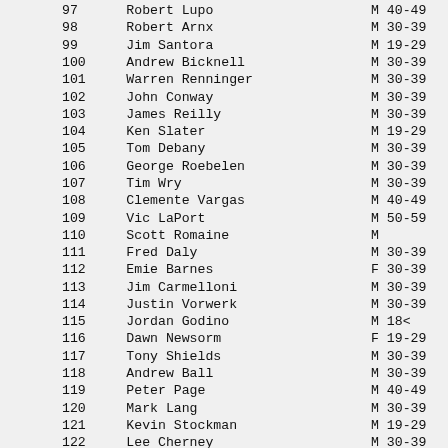| Place | Name | Gender | Age Group |
| --- | --- | --- | --- |
| 97 | Robert Lupo | M | 40-49 |
| 98 | Robert Arnx | M | 30-39 |
| 99 | Jim Santora | M | 19-29 |
| 100 | Andrew Bicknell | M | 30-39 |
| 101 | Warren Renninger | M | 30-39 |
| 102 | John Conway | M | 30-39 |
| 103 | James Reilly | M | 30-39 |
| 104 | Ken Slater | M | 19-29 |
| 105 | Tom Debany | M | 30-39 |
| 106 | George Roebelen | M | 30-39 |
| 107 | Tim Wry | M | 30-39 |
| 108 | Clemente Vargas | M | 40-49 |
| 109 | Vic LaPort | M | 50-59 |
| 110 | Scott Romaine | M |  |
| 111 | Fred Daly | M | 30-39 |
| 112 | Emie Barnes | F | 30-39 |
| 113 | Jim Carmelloni | M | 30-39 |
| 114 | Justin Vorwerk | M | 30-39 |
| 115 | Jordan Godino | M | 18&< |
| 116 | Dawn Newsorm | F | 19-29 |
| 117 | Tony Shields | M | 30-39 |
| 118 | Andrew Ball | M | 30-39 |
| 119 | Peter Page | M | 40-49 |
| 120 | Mark Lang | M | 30-39 |
| 121 | Kevin Stockman | M | 19-29 |
| 122 | Lee Cherney | M | 30-39 |
| 123 | Jeff Goldstein | M | 30-39 |
| 124 | Bob Goldblatt | M | 50-59 |
| 125 | Robert Denman | M | 40-49 |
| 126 | Tony Schenk | M | 40-49 |